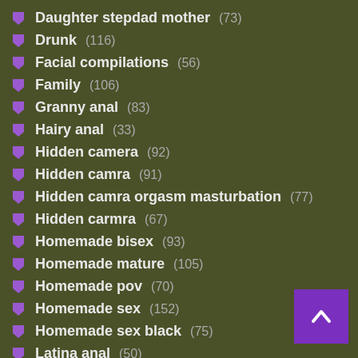Daughter stepdad mother (73)
Drunk (116)
Facial compilations (56)
Family (106)
Granny anal (83)
Hairy anal (33)
Hidden camera (92)
Hidden camra (91)
Hidden camra orgasm masturbation (77)
Hidden carmra (67)
Homemade bisex (93)
Homemade mature (105)
Homemade pov (70)
Homemade sex (152)
Homemade sex black (75)
Latina anal (50)
Mature big nipples fuck (27)